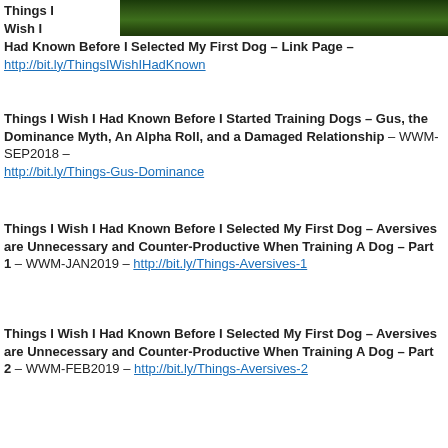[Figure (photo): Cropped photo of grass/greenery at the top of the page]
Things I Wish I Had Known Before I Selected My First Dog – Link Page – http://bit.ly/ThingsIWishIHadKnown
Things I Wish I Had Known Before I Started Training Dogs – Gus, the Dominance Myth, An Alpha Roll, and a Damaged Relationship – WWM-SEP2018 – http://bit.ly/Things-Gus-Dominance
Things I Wish I Had Known Before I Selected My First Dog – Aversives are Unnecessary and Counter-Productive When Training A Dog – Part 1 – WWM-JAN2019 – http://bit.ly/Things-Aversives-1
Things I Wish I Had Known Before I Selected My First Dog – Aversives are Unnecessary and Counter-Productive When Training A Dog – Part 2 – WWM-FEB2019 – http://bit.ly/Things-Aversives-2